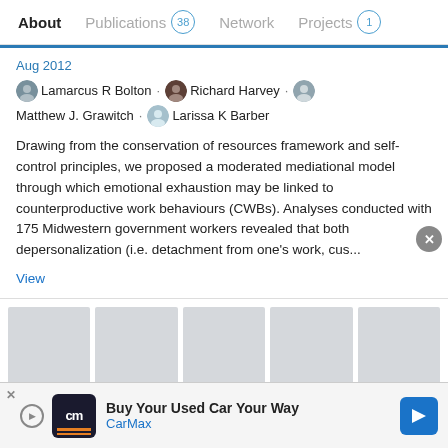About  Publications 38  Network  Projects 1
Aug 2012
Lamarcus R Bolton · Richard Harvey · Matthew J. Grawitch · Larissa K Barber
Drawing from the conservation of resources framework and self-control principles, we proposed a moderated mediational model through which emotional exhaustion may be linked to counterproductive work behaviours (CWBs). Analyses conducted with 175 Midwestern government workers revealed that both depersonalization (i.e. detachment from one's work, cus...
View
[Figure (other): Advertisement placeholder boxes row]
[Figure (other): Bottom banner advertisement: CarMax - Buy Your Used Car Your Way]